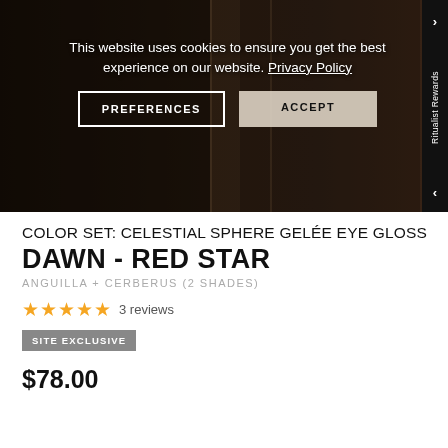[Figure (screenshot): Website cookie consent banner overlay on dark product hero image. Shows two panels of dark imagery with a male model. Cookie notice reads: 'This website uses cookies to ensure you get the best experience on our website. Privacy Policy' with PREFERENCES and ACCEPT buttons. A sidebar tab labeled 'Ritualist Rewards' appears on the right edge.]
COLOR SET: CELESTIAL SPHERE GELÉE EYE GLOSS
DAWN - RED STAR
ANGUILLA + CERBERUS (2 SHADES)
3 reviews
SITE EXCLUSIVE
$78.00